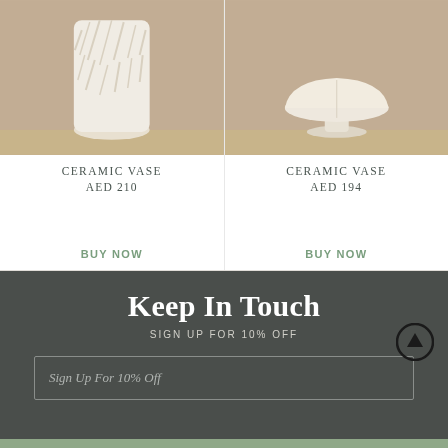[Figure (photo): White textured ceramic vase on wooden surface with beige/tan background]
[Figure (photo): White ceramic bowl/vase on pedestal on wooden surface with beige/tan background]
CERAMIC VASE
AED 210
BUY NOW
CERAMIC VASE
AED 194
BUY NOW
Keep In Touch
SIGN UP FOR 10% OFF
Sign Up For 10% Off